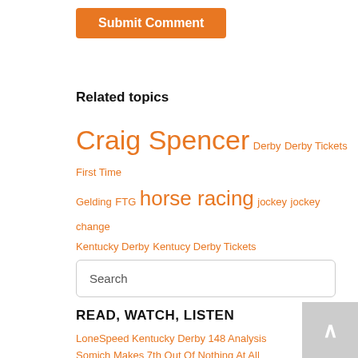Submit Comment
Related topics
Craig Spencer  Derby  Derby Tickets  First Time  Gelding  FTG  horse racing  jockey  jockey change  Kentucky Derby  Kentucy Derby Tickets  lonespeed  Tickets
Search
READ, WATCH, LISTEN
LoneSpeed Kentucky Derby 148 Analysis
Somich Makes 7th Out Of Nothing At All
LoneSpeed- NHC Table Etiquette Rundown with Susie